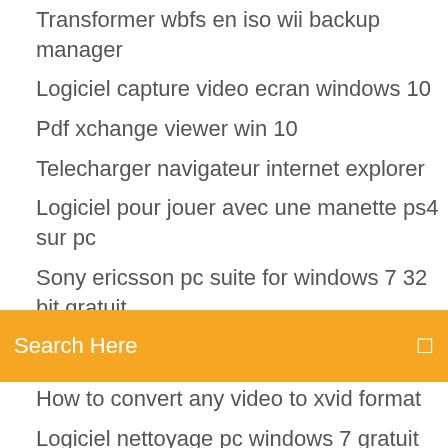Transformer wbfs en iso wii backup manager
Logiciel capture video ecran windows 10
Pdf xchange viewer win 10
Telecharger navigateur internet explorer
Logiciel pour jouer avec une manette ps4 sur pc
Sony ericsson pc suite for windows 7 32 bit gratuit
[Figure (screenshot): Orange/yellow search bar with text 'Search Here' and a search icon on the right]
How to convert any video to xvid format
Logiciel nettoyage pc windows 7 gratuit
Mettre son open office en francais
Picasa gratuit français pour windows 7
Hp photosmart e-all-in-one printer - d110a driver
Call of duty black ops 2 xbox 360 solution
Télécharger daemon tools serial gratis
Fond décran animé manga
Fichier de vidage mémoire windows 10
Is it legal to télécharger youtube videos reddit